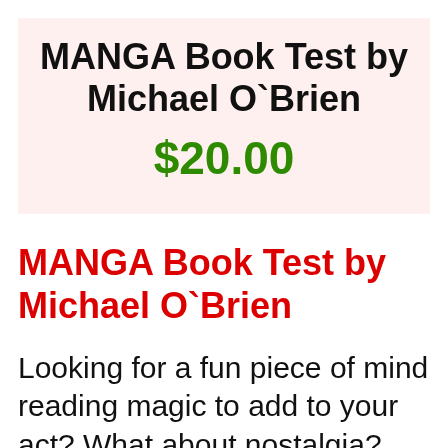MANGA Book Test by Michael O`Brien $20.00
MANGA Book Test by Michael O`Brien
Looking for a fun piece of mind reading magic to add to your act? What about nostalgia?